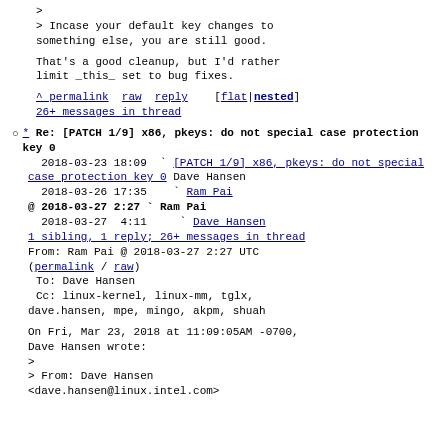>
> Incase your default key changes to something else, you are still good.

That's a good cleanup, but I'd rather limit _this_ set to bug fixes.

^ permalink raw reply   [flat|nested]
26+ messages in thread
* Re: [PATCH 1/9] x86, pkeys: do not special case protection key 0
2018-03-23 18:09  ` [PATCH 1/9] x86, pkeys: do not special case protection key 0 Dave Hansen
2018-03-26 17:35  ` Ram Pai
@ 2018-03-27  2:27  ` Ram Pai
2018-03-27  4:11   ` Dave Hansen
1 sibling, 1 reply; 26+ messages in thread
From: Ram Pai @ 2018-03-27  2:27 UTC (permalink / raw)
To: Dave Hansen
Cc: linux-kernel, linux-mm, tglx, dave.hansen, mpe, mingo, akpm, shuah

On Fri, Mar 23, 2018 at 11:09:05AM -0700, Dave Hansen wrote:
>
> From: Dave Hansen
<dave.hansen@linux.intel.com>